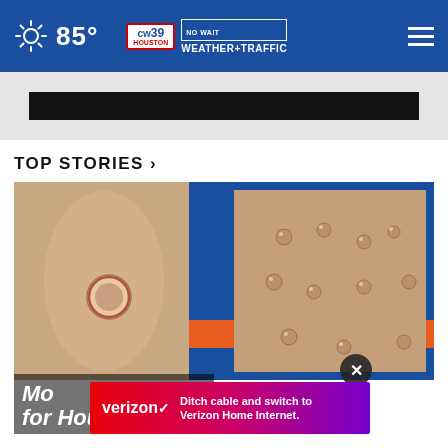85° CW39 NO WAIT WEATHER+TRAFFIC
TOP STORIES ›
[Figure (photo): Composite medical photo showing skin with monkeypox lesions — left side shows a close-up of a finger with a round blister/pustule, right side shows broader view of skin covered in multiple raised bumps/pustules]
Mo... ble for Houston
[Figure (infographic): Verizon advertisement banner: 'Ditch cable and switch to Verizon Home Internet.']